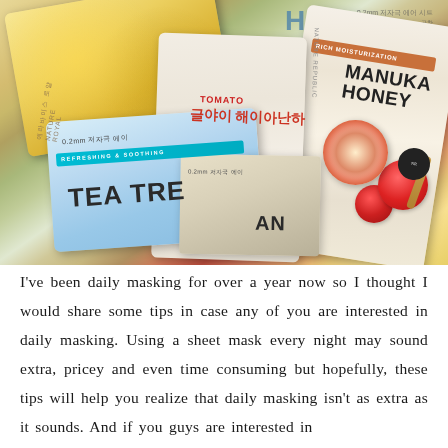[Figure (photo): A collection of Korean sheet face masks including Nature Republic Tea Tree (blue packaging), Manuka Honey (cream/brown packaging), and Tomato varieties, overlapping and scattered, showing Korean text and imagery of honey, tomatoes, and herbs.]
I've been daily masking for over a year now so I thought I would share some tips in case any of you are interested in daily masking. Using a sheet mask every night may sound extra, pricey and even time consuming but hopefully, these tips will help you realize that daily masking isn't as extra as it sounds. And if you guys are interested in